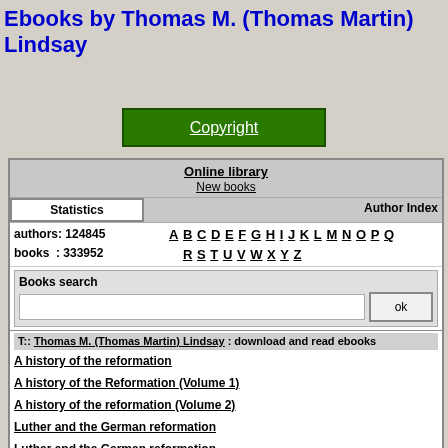Ebooks by Thomas M. (Thomas Martin) Lindsay
[Figure (other): Green Copyright button/link]
Online library
New books
Statistics | Author Index
authors: 124845  books : 333952
A B C D E F G H I J K L M N O P Q R S T U V W X Y Z
Books search
T:: Thomas M. (Thomas Martin) Lindsay : download and read ebooks
A history of the reformation
A history of the Reformation (Volume 1)
A history of the reformation (Volume 2)
Luther and the German reformation
Luther and the German reformation